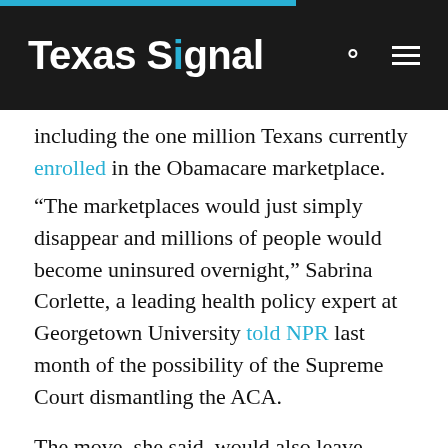Texas Signal
including the one million Texans currently enrolled in the Obamacare marketplace.
“The marketplaces would just simply disappear and millions of people would become uninsured overnight,” Sabrina Corlette, a leading health policy expert at Georgetown University told NPR last month of the possibility of the Supreme Court dismantling the ACA.
The move, she said, would also leave hospitals and doctors with millions of dollars in unpaid medical bills and any state expansion of